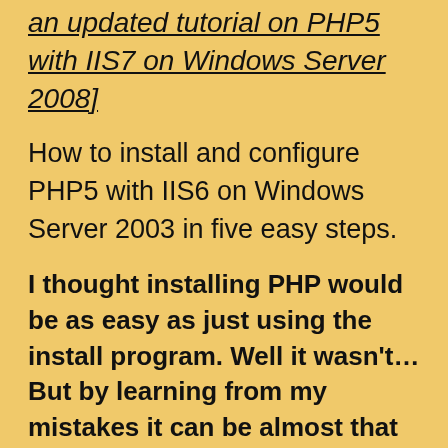an updated tutorial on PHP5 with IIS7 on Windows Server 2008]
How to install and configure PHP5 with IIS6 on Windows Server 2003 in five easy steps.
I thought installing PHP would be as easy as just using the install program. Well it wasn't… But by learning from my mistakes it can be almost that easy.
Just follow these five easy steps on how to install and configure PHP 5 on a Windows Server 2003 running IIS – after trying the